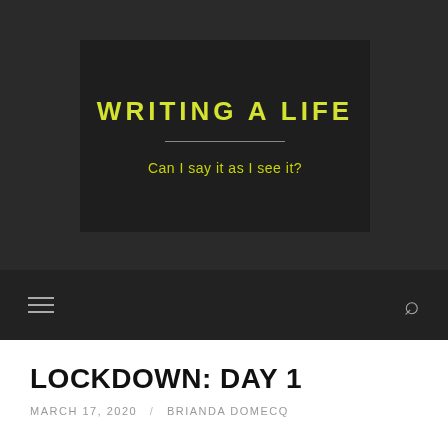[Figure (screenshot): Blog header banner with dark background showing blog title 'WRITING A LIFE' in bold yellow text, a horizontal divider, and subtitle 'Can I say it as I see it?' in yellow-green text]
Navigation bar with hamburger menu icon and search icon
LOCKDOWN: DAY 1
MARCH 17, 2020 / BRIANDA DOMECQ